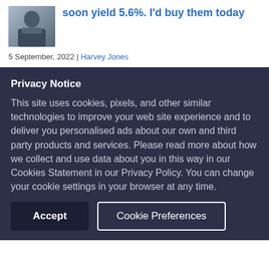[Figure (photo): Thumbnail photo of a man in a suit, likely a business professional, sitting at a desk.]
soon yield 5.6%. I'd buy them today
5 September, 2022 | Harvey Jones
Privacy Notice
This site uses cookies, pixels, and other similar technologies to improve your web site experience and to deliver you personalised ads about our own and third party products and services. Please read more about how we collect and use data about you in this way in our Cookies Statement in our Privacy Policy. You can change your cookie settings in your browser at any time.
Accept
Cookie Preferences